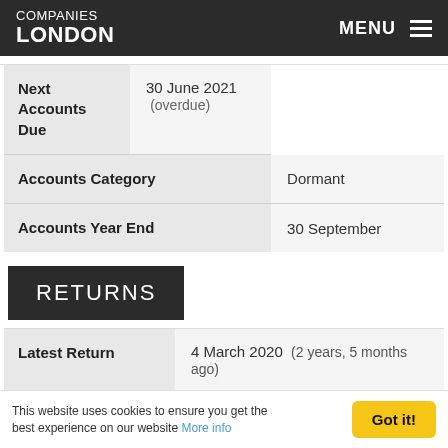COMPANIES LONDON | MENU
| Field | Value |
| --- | --- |
| Next Accounts Due | 30 June 2021 (overdue) |
| Accounts Category | Dormant |
| Accounts Year End | 30 September |
RETURNS
| Field | Value |
| --- | --- |
| Latest Return | 4 March 2020 (2 years, 5 months ago) |
This website uses cookies to ensure you get the best experience on our website More info | Got it!